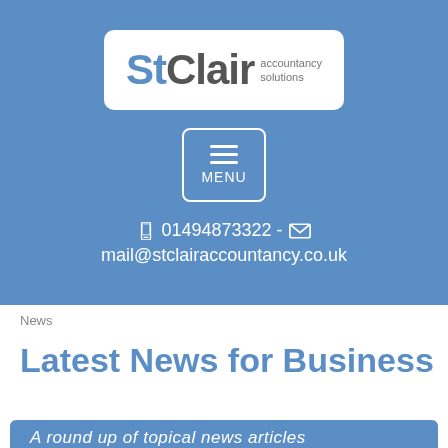[Figure (logo): StClair accountancy solutions logo — white rounded rectangle on blue background, with 'St' in blue, 'Clair' in dark grey, and 'accountancy solutions' text to the right]
[Figure (other): Menu button — square button with three horizontal lines (hamburger icon) and the word MENU below]
01494873322 -
mail@stclairaccountancy.co.uk
News
Latest News for Business
A round up of topical news articles